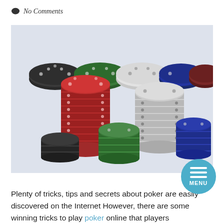No Comments
[Figure (photo): Stacks of colorful poker chips (black, red, green, white/grey, blue, dark red) arranged on a light background, some stacked tall and some lying flat.]
Plenty of tricks, tips and secrets about poker are easily discovered on the Internet However, there are some winning tricks to play poker online that players